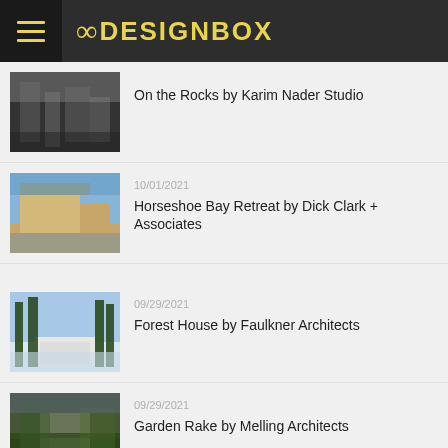8DESIGNBOX
On the Rocks by Karim Nader Studio
10/01/2021 | Horseshoe Bay Retreat by Dick Clark + Associates
09/29/2021 | Forest House by Faulkner Architects
09/29/2021 | Garden Rake by Melling Architects